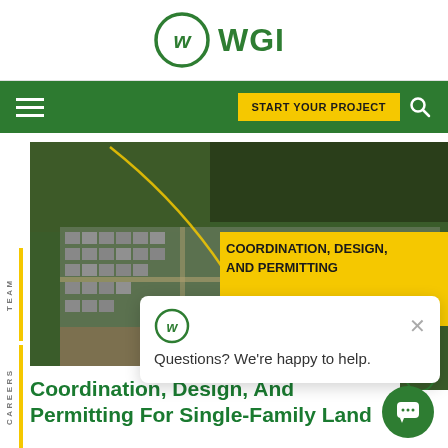WGI
[Figure (logo): WGI company logo - circular logo with stylized W inside a circle, text WGI to the right]
[Figure (screenshot): WGI website navigation bar - green background with hamburger menu on left, START YOUR PROJECT yellow button and search icon on right]
[Figure (photo): Aerial photograph of a single-family residential land development project showing rows of houses, streets, and surrounding trees. Overlaid with yellow banner text: COORDINATION, DESIGN, AND PERMITTING FOR SINGLE-FAMILY LAND DEVELOPMENT PROJECTS]
Questions? We're happy to help.
Coordination, Design, And Permitting For Single-Family Land